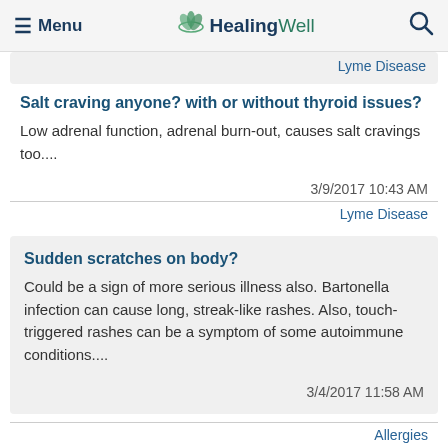Menu | HealingWell | Search
Lyme Disease
Salt craving anyone? with or without thyroid issues?
Low adrenal function, adrenal burn-out, causes salt cravings too....
3/9/2017 10:43 AM
Lyme Disease
Sudden scratches on body?
Could be a sign of more serious illness also. Bartonella infection can cause long, streak-like rashes. Also, touch-triggered rashes can be a symptom of some autoimmune conditions....
3/4/2017 11:58 AM
Allergies
sulfites &asthma